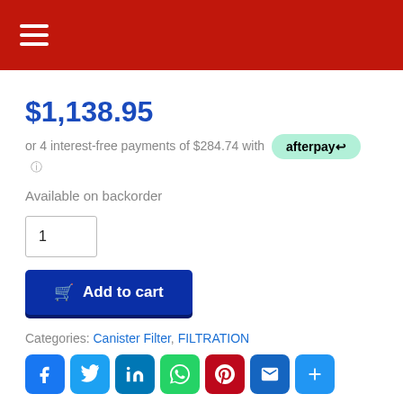Navigation menu
$1,138.95
or 4 interest-free payments of $284.74 with afterpay
Available on backorder
1
Add to cart
Categories: Canister Filter, FILTRATION
[Figure (other): Social share icons: Facebook, Twitter, LinkedIn, WhatsApp, Pinterest, Email, Plus]